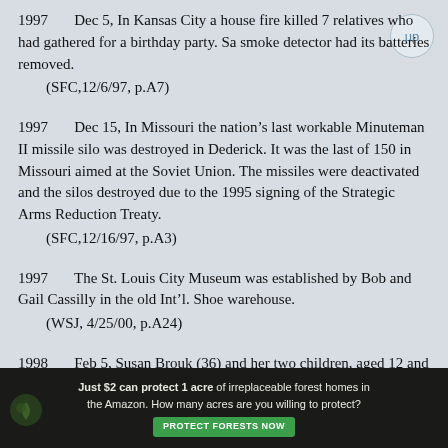1997	Dec 5, In Kansas City a house fire killed 7 relatives who had gathered for a birthday party. Sa smoke detector had its batteries removed.
(SFC,12/6/97, p.A7)
1997	Dec 15, In Missouri the nation’s last workable Minuteman II missile silo was destroyed in Dederick. It was the last of 150 in Missouri aimed at the Soviet Union. The missiles were deactivated and the silos destroyed due to the 1995 signing of the Strategic Arms Reduction Treaty.
(SFC,12/16/97, p.A3)
1997	The St. Louis City Museum was established by Bob and Gail Cassilly in the old Int’l. Shoe warehouse.
(WSJ, 4/25/00, p.A24)
1998	Feb 5, Susan Brouk (36) and her two children, aged 12 and 9, were found dead in a
[Figure (infographic): Advertisement banner: dark background with forest imagery. Text reads 'Just $2 can protect 1 acre of irreplaceable forest homes in the Amazon. How many acres are you willing to protect?' with a green 'PROTECT FORESTS NOW' button.]